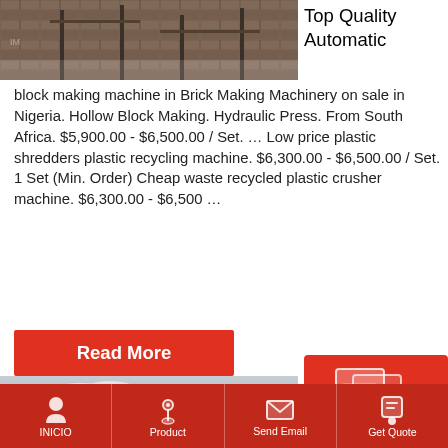[Figure (photo): Construction/industrial machinery photo, dark tones with metal structures]
Top Quality Automatic block making machine in Brick Making Machinery on sale in Nigeria. Hollow Block Making. Hydraulic Press. From South Africa. $5,900.00 - $6,500.00 / Set. … Low price plastic shredders plastic recycling machine. $6,300.00 - $6,500.00 / Set. 1 Set (Min. Order) Cheap waste recycled plastic crusher machine. $6,300.00 - $6,500 …
Read More
[Figure (photo): Outdoor scene with trees and cloudy sky]
Plastic Recycling Machine
[Figure (screenshot): Quote/message overlay icon in red box]
INICIO   Product   Send Email   Get Quote